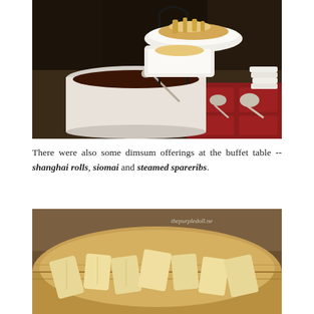[Figure (photo): Restaurant buffet display with a ceramic pot containing dark sauce with a spoon, a multi-tiered metal stand holding white dishes with fried food items, a red lacquer tray with condiment spoons, on a dark kitchen surface.]
There were also some dimsum offerings at the buffet table -- shanghai rolls, siomai and steamed spareribs.
[Figure (photo): Close-up of a bamboo steamer basket filled with dimsum items including shanghai rolls and siomai, with a watermark reading 'thepurpledoll.ne' in the upper right corner.]